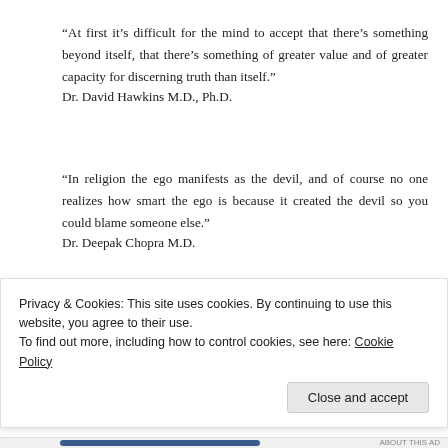“At first it’s difficult for the mind to accept that there’s something beyond itself, that there’s something of greater value and of greater capacity for discerning truth than itself.”
Dr. David Hawkins M.D., Ph.D.
“In religion the ego manifests as the devil, and of course no one realizes how smart the ego is because it created the devil so you could blame someone else.”
Dr. Deepak Chopra M.D.
“In creating this imaginary external enemy we usually
Privacy & Cookies: This site uses cookies. By continuing to use this website, you agree to their use.
To find out more, including how to control cookies, see here: Cookie Policy
Close and accept